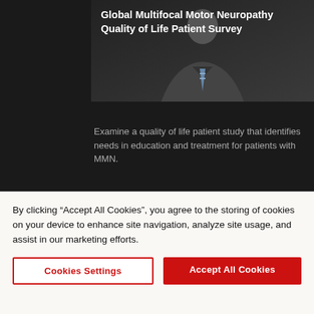[Figure (photo): Video thumbnail showing a man in a suit with a striped tie against a dark background, overlaid with the title text]
Global Multifocal Motor Neuropathy Quality of Life Patient Survey
Examine a quality of life patient study that identifies needs in education and treatment for patients with MMN.
[Figure (photo): Video thumbnail showing three people seated in chairs on a dark stage panel discussion, duration badge showing 16:21, with title overlay]
Wear-Off in IVIG and What it Means in Clinical Practice
By clicking “Accept All Cookies”, you agree to the storing of cookies on your device to enhance site navigation, analyze site usage, and assist in our marketing efforts.
Cookies Settings
Accept All Cookies